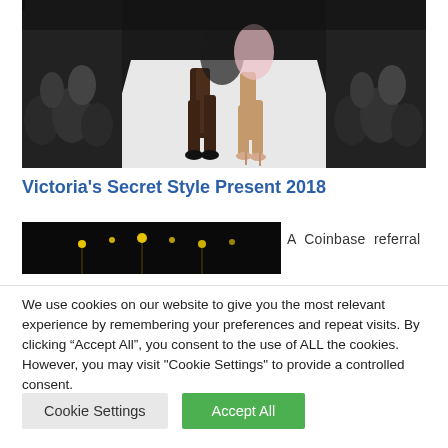[Figure (photo): Fashion runway photo showing models' legs walking on a white runway catwalk, with audience seated on both sides. Models wear heels — one in black shoes, one in nude/pink stilettos. Background is dark/crowd.]
Victoria's Secret Style Present 2018
[Figure (photo): Small dark thumbnail image, appears to show a lit runway or stage with lights visible in the darkness.]
A Coinbase referral
We use cookies on our website to give you the most relevant experience by remembering your preferences and repeat visits. By clicking “Accept All”, you consent to the use of ALL the cookies. However, you may visit "Cookie Settings" to provide a controlled consent.
Cookie Settings
Accept All